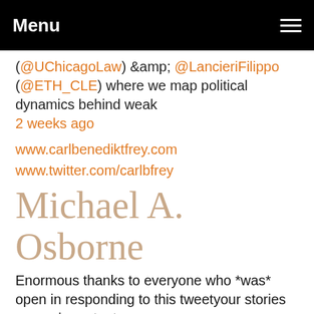Menu
(@UChicagoLaw) &amp; @LancieriFilippo (@ETH_CLE) where we map political dynamics behind weak
2 weeks ago
www.carlbenediktfrey.com
www.twitter.com/carlbfrey
Michael A. Osborne
Enormous thanks to everyone who *was* open in responding to this tweetyour stories are so important
yesterday in reply to maosbot
RT @thane_black: Its a little ironic how often when a doctor applies a psychiatric label to a patient's illness they are actually